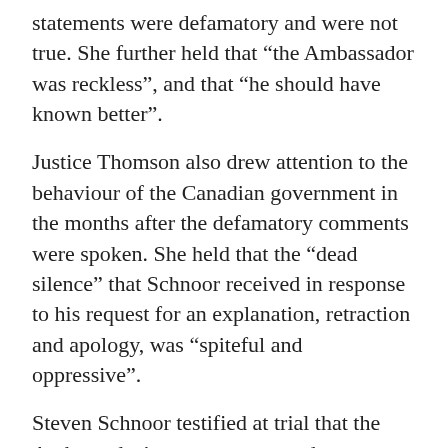statements were defamatory and were not true. She further held that “the Ambassador was reckless”, and that “he should have known better”.
Justice Thomson also drew attention to the behaviour of the Canadian government in the months after the defamatory comments were spoken. She held that the “dead silence” that Schnoor received in response to his request for an explanation, retraction and apology, was “spiteful and oppressive”.
Steven Schnoor testified at trial that the Ambassador’s comments served to undermine the credibility of the people in the video.
“I am glad that there has finally been some accountability for the Ambassador’s actions. As the judge said, this defamation was serious.” Schnoor said.